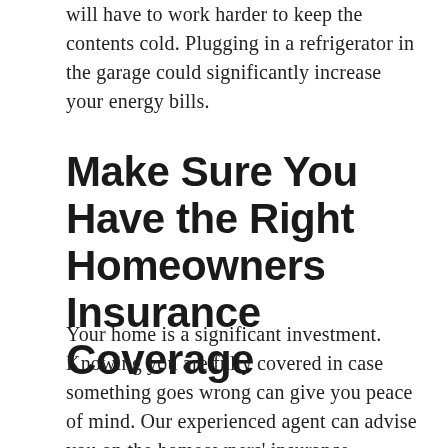will have to work harder to keep the contents cold. Plugging in a refrigerator in the garage could significantly increase your energy bills.
Make Sure You Have the Right Homeowners Insurance Coverage
Your home is a significant investment. Knowing you are fully covered in case something goes wrong can give you peace of mind. Our experienced agent can advise you on the homeowners' insurance coverage you need and